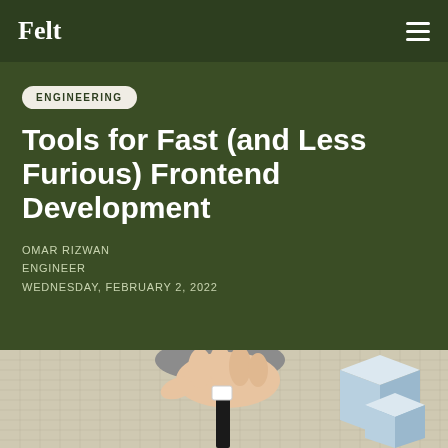Felt
ENGINEERING
Tools for Fast (and Less Furious) Frontend Development
OMAR RIZWAN
ENGINEER
WEDNESDAY, FEBRUARY 2, 2022
[Figure (illustration): An illustrated hand pressing down on a dark rectangular object on a grid map background, with isometric cube shapes on the right side. The illustration depicts a map/GIS tool interaction.]